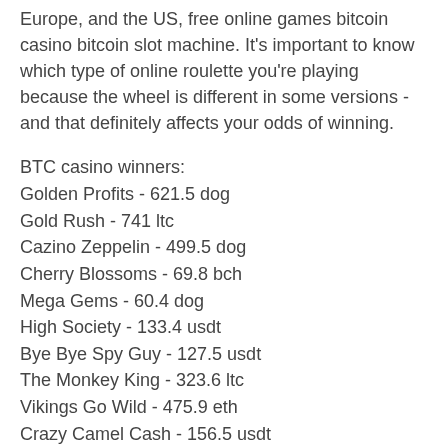Europe, and the US, free online games bitcoin casino bitcoin slot machine. It's important to know which type of online roulette you're playing because the wheel is different in some versions - and that definitely affects your odds of winning.
BTC casino winners:
Golden Profits - 621.5 dog
Gold Rush - 741 ltc
Cazino Zeppelin - 499.5 dog
Cherry Blossoms - 69.8 bch
Mega Gems - 60.4 dog
High Society - 133.4 usdt
Bye Bye Spy Guy - 127.5 usdt
The Monkey King - 323.6 ltc
Vikings Go Wild - 475.9 eth
Crazy Camel Cash - 156.5 usdt
Astro Cat - 137.1 bch
Marswood Party - 726.5 eth
Wildcano with Orbital Reels - 466.3 ltc
Phantom Thief - 689.5 btc